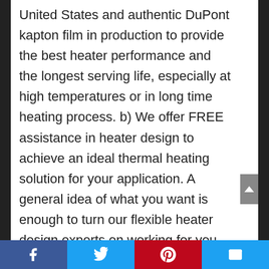United States and authentic DuPont kapton film in production to provide the best heater performance and the longest serving life, especially at high temperatures or in long time heating process. b) We offer FREE assistance in heater design to achieve an ideal thermal heating solution for your application. A general idea of what you want is enough to turn our flexible heater design experts on working for you. c) Each and every heater is newly made to order and factory-inspected before delivery to you. KEENOVO is your right choice if you are looking for high quality heaters with 100% guarantee.